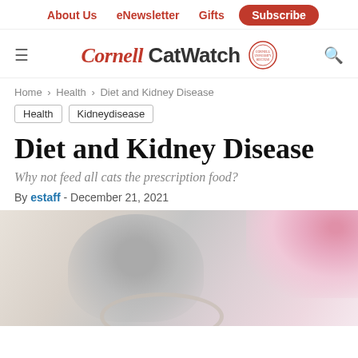About Us  eNewsletter  Gifts  Subscribe
Cornell CatWatch
Home > Health > Diet and Kidney Disease
Health
Kidneydisease
Diet and Kidney Disease
Why not feed all cats the prescription food?
By estaff - December 21, 2021
[Figure (photo): Blurred photo of a cat with pink flowers in the background and a bowl in the foreground]